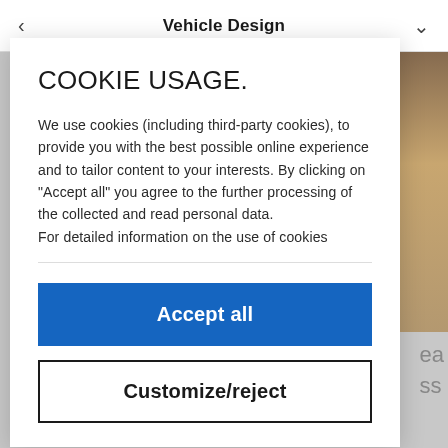< Vehicle Design v
COOKIE USAGE.
We use cookies (including third-party cookies), to provide you with the best possible online experience and to tailor content to your interests. By clicking on "Accept all" you agree to the further processing of the collected and read personal data.
For detailed information on the use of cookies
Accept all
Customize/reject